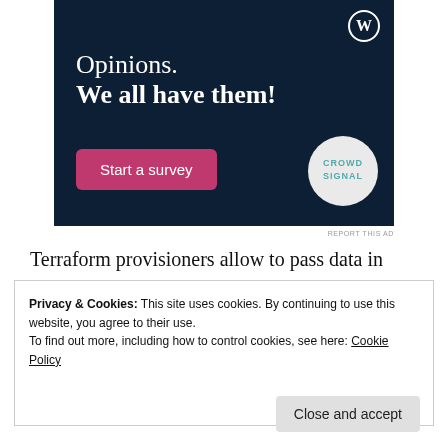[Figure (illustration): Dark navy blue advertisement banner with WordPress logo in top right, text 'Opinions. We all have them!', a pink 'Start a survey' button, and Crowdsignal circular logo]
REPORT THIS AD
Terraform provisioners allow to pass data in
Privacy & Cookies: This site uses cookies. By continuing to use this website, you agree to their use.
To find out more, including how to control cookies, see here: Cookie Policy
Close and accept